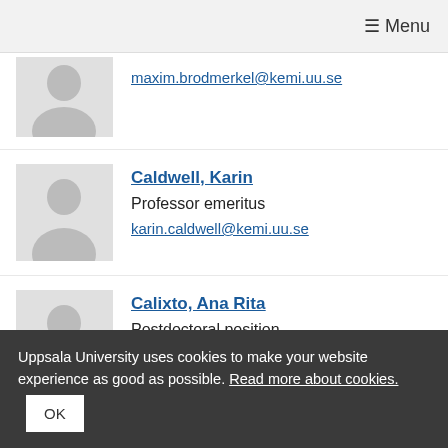☰ Menu
[Figure (photo): Gray placeholder silhouette photo for Brodmerkel]
maxim.brodmerkel@kemi.uu.se
[Figure (photo): Gray placeholder silhouette photo for Caldwell]
Caldwell, Karin
Professor emeritus
karin.caldwell@kemi.uu.se
[Figure (photo): Gray placeholder silhouette photo for Calixto]
Calixto, Ana Rita
Postdoctoral position
[Figure (photo): Gray placeholder silhouette photo for Cederfelt]
Cederfelt, Daniela
Uppsala University uses cookies to make your website experience as good as possible. Read more about cookies.